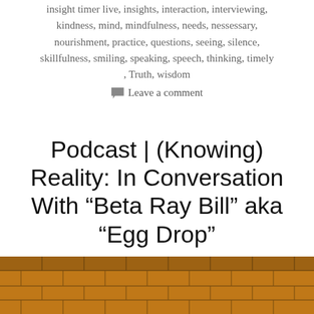insight timer live, insights, interaction, interviewing, kindness, mind, mindfulness, needs, nessessary, nourishment, practice, questions, seeing, silence, skillfulness, smiling, speaking, speech, thinking, timely , Truth, wisdom
Leave a comment
Podcast | (Knowing) Reality: In Conversation With “Beta Ray Bill” aka “Egg Drop”
[Figure (photo): Close-up photo of textured brown/orange tiles or brickwork surface, partially visible at bottom of page]